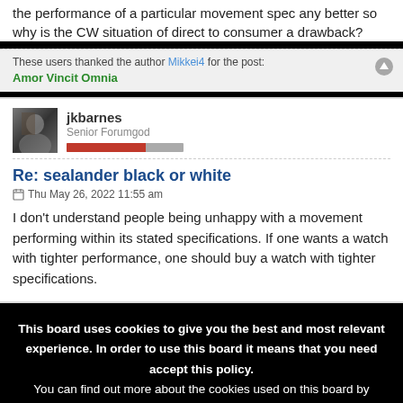the performance of a particular movement spec any better so why is the CW situation of direct to consumer a drawback?
These users thanked the author Mikkei4 for the post: Amor Vincit Omnia
jkbarnes
Senior Forumgod
Re: sealander black or white
Thu May 26, 2022 11:55 am
I don't understand people being unhappy with a movement performing within its stated specifications. If one wants a watch with tighter performance, one should buy a watch with tighter specifications.
This board uses cookies to give you the best and most relevant experience. In order to use this board it means that you need accept this policy.
You can find out more about the cookies used on this board by clicking the "Policies" link at the bottom of the page.
Accept Cookies